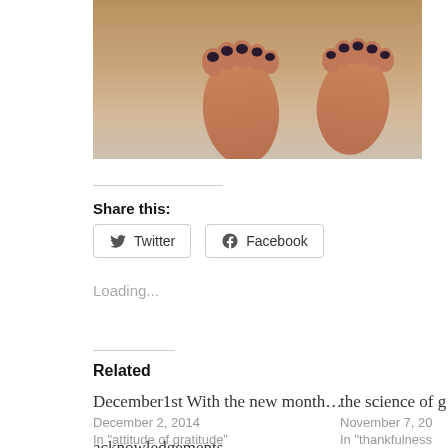[Figure (photo): Close-up photo of feet/toes with dark nail polish on a light carpet or rug surface]
Share this:
Twitter
Facebook
Loading...
Related
December1st With the new month…
December 2, 2014
In "attitude of gratitude"
the science of g
November 7, 20
In "thankfulness
acknowledgements
November 23, 2014